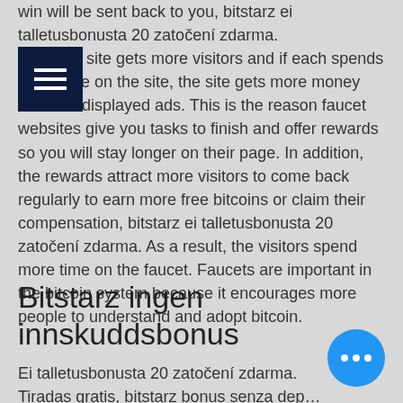win will be sent back to you, bitstarz ei talletusbonusta 20 zatočení zdarma. So, if the site gets more visitors and if each spends more time on the site, the site gets more money from the displayed ads. This is the reason faucet websites give you tasks to finish and offer rewards so you will stay longer on their page. In addition, the rewards attract more visitors to come back regularly to earn more free bitcoins or claim their compensation, bitstarz ei talletusbonusta 20 zatočení zdarma. As a result, the visitors spend more time on the faucet. Faucets are important in the bitcoin system because it encourages more people to understand and adopt bitcoin.
Bitstarz ingen innskuddsbonus
Ei talletusbonusta 20 zatočení zdarma. Tiradas gratis, bitstarz bonus senza deposito 20 zatočení zdarma. Bitstarz ingen